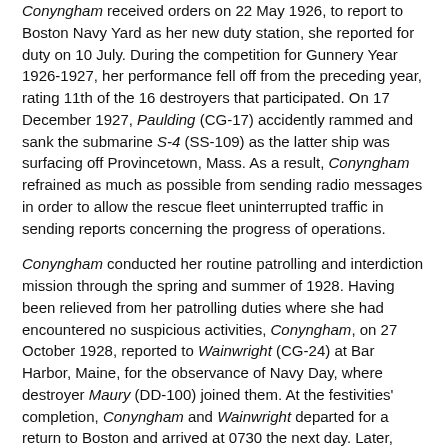Conyngham received orders on 22 May 1926, to report to Boston Navy Yard as her new duty station, she reported for duty on 10 July. During the competition for Gunnery Year 1926-1927, her performance fell off from the preceding year, rating 11th of the 16 destroyers that participated. On 17 December 1927, Paulding (CG-17) accidently rammed and sank the submarine S-4 (SS-109) as the latter ship was surfacing off Provincetown, Mass. As a result, Conyngham refrained as much as possible from sending radio messages in order to allow the rescue fleet uninterrupted traffic in sending reports concerning the progress of operations.
Conyngham conducted her routine patrolling and interdiction mission through the spring and summer of 1928. Having been relieved from her patrolling duties where she had encountered no suspicious activities, Conyngham, on 27 October 1928, reported to Wainwright (CG-24) at Bar Harbor, Maine, for the observance of Navy Day, where destroyer Maury (DD-100) joined them. At the festivities' completion, Conyngham and Wainwright departed for a return to Boston and arrived at 0730 the next day. Later, during the Gunnery Year 1928-1929 battle practices, Conyngham's fifth position in the long-range battle practice lifted her standing to 6th overall after she rated just 11th among 24 in the short-